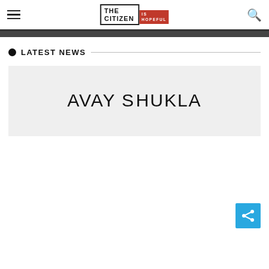THE CITIZEN IS HOPEFUL
LATEST NEWS
[Figure (other): Gray placeholder card with text AVAY SHUKLA]
[Figure (other): Blue share button with share icon]